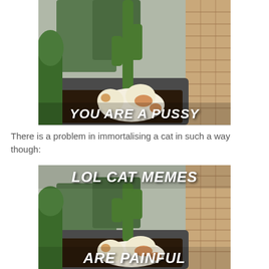[Figure (photo): Cat lying in a planter box with a cactus, outdoors near a brick wall and green bins. Text overlay at bottom reads 'YOU ARE A PUSSY' in bold italic white Impact font.]
There is a problem in immortalising a cat in such a way though:
[Figure (photo): Same photo of cat lying in planter box with cactus. Top text overlay reads 'LOL CAT MEMES' and bottom text overlay reads 'ARE PAINFUL' in bold italic white Impact font.]